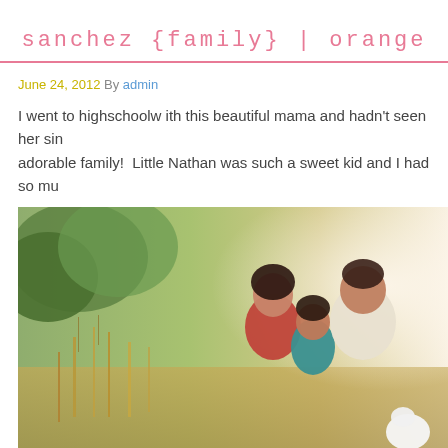sanchez {family} | orange
June 24, 2012 By admin
I went to highschoolw ith this beautiful mama and hadn't seen her sin... adorable family!  Little Nathan was such a sweet kid and I had so mu...
[Figure (photo): Outdoor family photo of a woman, young boy, and man sitting together in a golden field with green trees in the background. The woman wears red, the boy wears teal, and the man wears white. A small white fluffy dog is visible.]